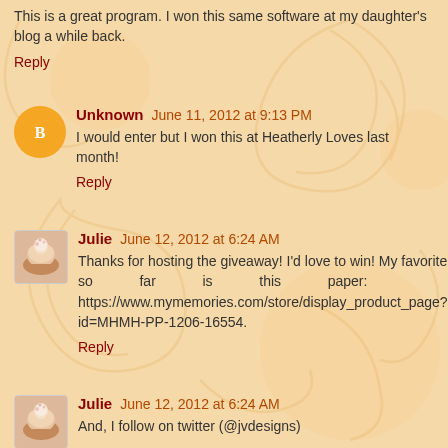This is a great program. I won this same software at my daughter's blog a while back.
Reply
Unknown  June 11, 2012 at 9:13 PM
I would enter but I won this at Heatherly Loves last month!
Reply
Julie  June 12, 2012 at 6:24 AM
Thanks for hosting the giveaway! I'd love to win! My favorite so far is this paper: https://www.mymemories.com/store/display_product_page?id=MHMH-PP-1206-16554.
Reply
Julie  June 12, 2012 at 6:24 AM
And, I follow on twitter (@jvdesigns)